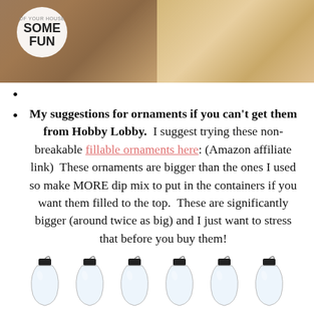[Figure (photo): Top portion showing a wooden background with a circular logo reading 'SOME FUN', split between dark and light wood grain textures]
My suggestions for ornaments if you can't get them from Hobby Lobby. I suggest trying these non-breakable fillable ornaments here: (Amazon affiliate link) These ornaments are bigger than the ones I used so make MORE dip mix to put in the containers if you want them filled to the top. These are significantly bigger (around twice as big) and I just want to stress that before you buy them!
[Figure (illustration): Six clear fillable Christmas ornament bulbs in a row, with black caps and wire hooks]